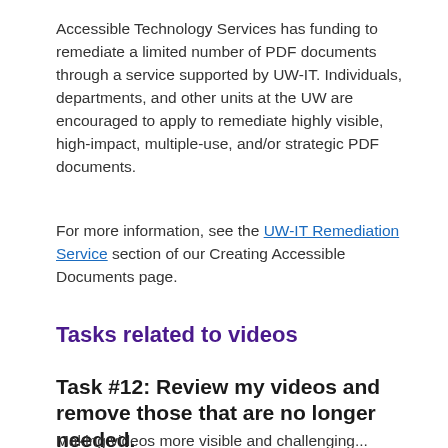Accessible Technology Services has funding to remediate a limited number of PDF documents through a service supported by UW-IT. Individuals, departments, and other units at the UW are encouraged to apply to remediate highly visible, high-impact, multiple-use, and/or strategic PDF documents.
For more information, see the UW-IT Remediation Service section of our Creating Accessible Documents page.
Tasks related to videos
Task #12: Review my videos and remove those that are no longer needed.
Making videos more visible and challenging...